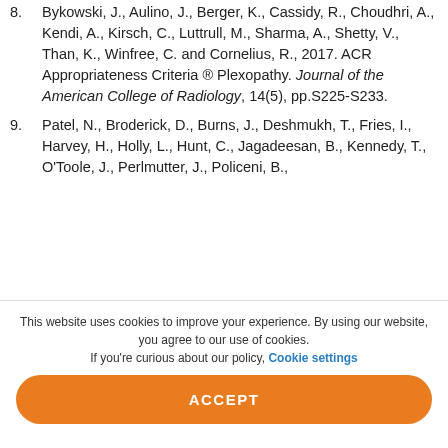8. Bykowski, J., Aulino, J., Berger, K., Cassidy, R., Choudhri, A., Kendi, A., Kirsch, C., Luttrull, M., Sharma, A., Shetty, V., Than, K., Winfree, C. and Cornelius, R., 2017. ACR Appropriateness Criteria ® Plexopathy. Journal of the American College of Radiology, 14(5), pp.S225-S233.
9. Patel, N., Broderick, D., Burns, J., Deshmukh, T., Fries, I., Harvey, H., Holly, L., Hunt, C., Jagadeesan, B., Kennedy, T., O'Toole, J., Perlmutter, J., Policeni, B.,
This website uses cookies to improve your experience. By using our website, you agree to our use of cookies. If you're curious about our policy, Cookie settings
ACCEPT